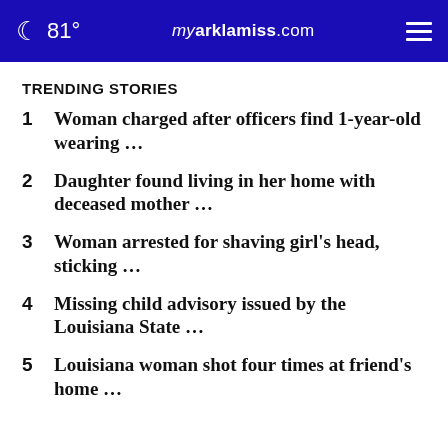81° myarklamiss.com
TRENDING STORIES
1 Woman charged after officers find 1-year-old wearing …
2 Daughter found living in her home with deceased mother …
3 Woman arrested for shaving girl's head, sticking …
4 Missing child advisory issued by the Louisiana State …
5 Louisiana woman shot four times at friend's home …